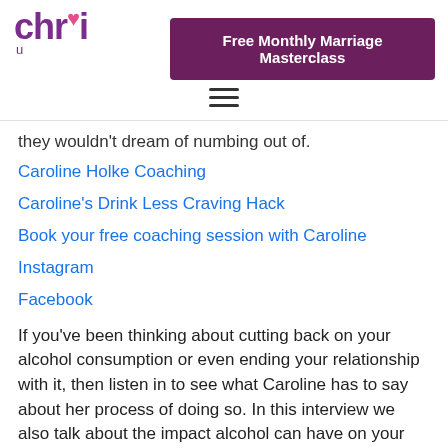chr... | Free Monthly Marriage Masterclass
they wouldn't dream of numbing out of.
Caroline Holke Coaching
Caroline's Drink Less Craving Hack
Book your free coaching session with Caroline
Instagram
Facebook
If you've been thinking about cutting back on your alcohol consumption or even ending your relationship with it, then listen in to see what Caroline has to say about her process of doing so. In this interview we also talk about the impact alcohol can have on your marriage relationship, depending upon your reasons for wanting to